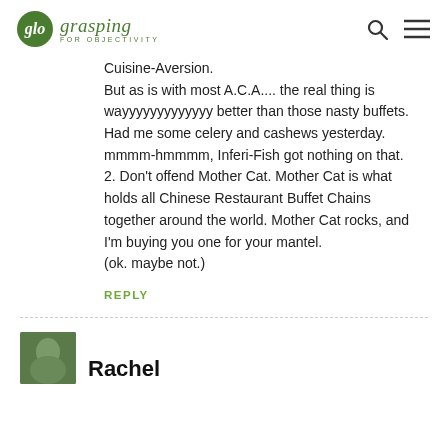glo grasping FOR OBJECTIVITY
Cuisine-Aversion.
But as is with most A.C.A.... the real thing is wayyyyyyyyyyyyy better than those nasty buffets. Had me some celery and cashews yesterday. mmmm-hmmmm, Inferi-Fish got nothing on that.
2. Don't offend Mother Cat. Mother Cat is what holds all Chinese Restaurant Buffet Chains together around the world. Mother Cat rocks, and I'm buying you one for your mantel.
(ok. maybe not.)
REPLY
Rachel